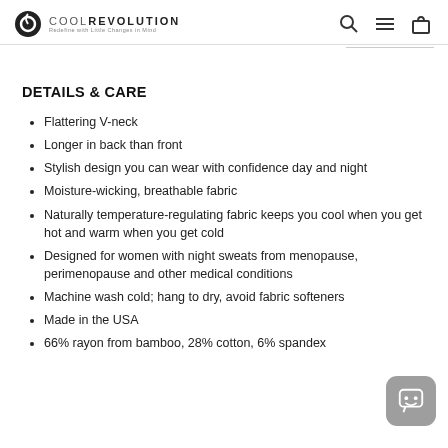COOLREVOLUTION (logo with search, menu, cart icons)
DETAILS & CARE
Flattering V-neck
Longer in back than front
Stylish design you can wear with confidence day and night
Moisture-wicking, breathable fabric
Naturally temperature-regulating fabric keeps you cool when you get hot and warm when you get cold
Designed for women with night sweats from menopause, perimenopause and other medical conditions
Machine wash cold; hang to dry, avoid fabric softeners
Made in the USA
66% rayon from bamboo, 28% cotton, 6% spandex